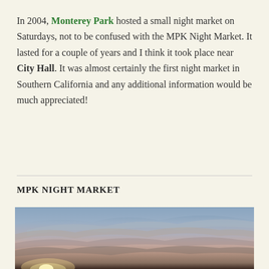In 2004, Monterey Park hosted a small night market on Saturdays, not to be confused with the MPK Night Market. It lasted for a couple of years and I think it took place near City Hall. It was almost certainly the first night market in Southern California and any additional information would be much appreciated!
MPK NIGHT MARKET
[Figure (photo): Photograph of a sunset sky with dramatic clouds in shades of blue, purple, and pink, with a bright sun glow near the horizon on the left side.]